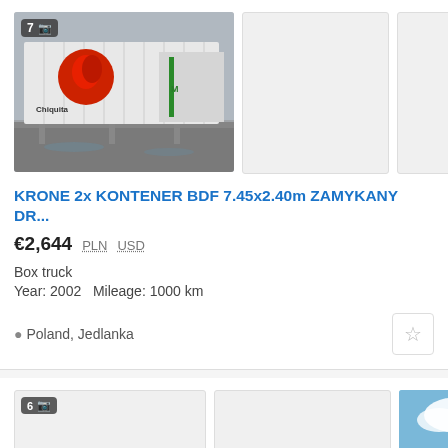[Figure (photo): Main truck listing photo showing white Krone box truck/container with red logo, parked in snowy/wet outdoor area. Badge shows '7' with camera icon.]
KRONE 2x KONTENER BDF 7.45x2.40m ZAMYKANY DR...
€2,644  PLN  USD
Box truck
Year: 2002   Mileage: 1000 km
Poland, Jedlanka
[Figure (photo): Partial second listing: left placeholder thumbnail with '6' badge and camera icon, middle empty thumbnail, right thumbnail showing yellow truck body against blue sky.]